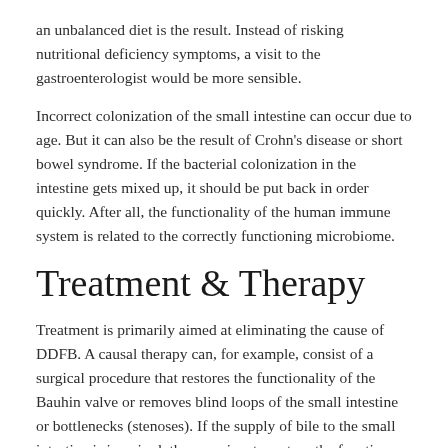an unbalanced diet is the result. Instead of risking nutritional deficiency symptoms, a visit to the gastroenterologist would be more sensible.
Incorrect colonization of the small intestine can occur due to age. But it can also be the result of Crohn's disease or short bowel syndrome. If the bacterial colonization in the intestine gets mixed up, it should be put back in order quickly. After all, the functionality of the human immune system is related to the correctly functioning microbiome.
Treatment & Therapy
Treatment is primarily aimed at eliminating the cause of DDFB. A causal therapy can, for example, consist of a surgical procedure that restores the functionality of the Bauhin valve or removes blind loops of the small intestine or bottlenecks (stenoses). If the supply of bile to the small intestine is impaired, therapy aims to restore the functions of the pancreas and gallbladder.
At the same time, nutritional supplements and vitamin